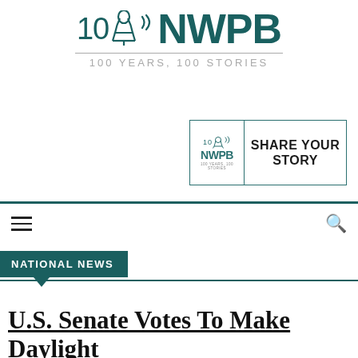[Figure (logo): NWPB 100 Years 100 Stories logo with tree icon and radio waves]
[Figure (logo): NWPB Share Your Story promotional box with logo and text]
[Figure (other): Navigation bar with hamburger menu and search icon]
NATIONAL NEWS
U.S. Senate Votes To Make Daylight